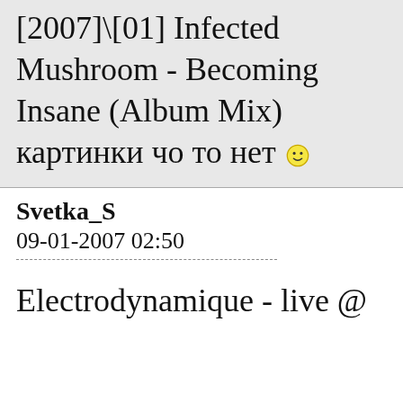[2007]\[01] Infected Mushroom - Becoming Insane (Album Mix) картинки чо то нет 🙂
Svetka_S
09-01-2007 02:50
Electrodynamique - live @